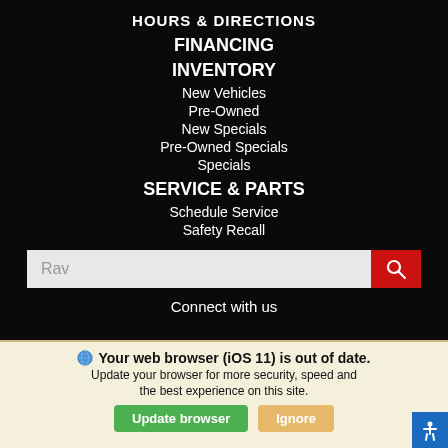HOURS & DIRECTIONS
FINANCING
INVENTORY
New Vehicles
Pre-Owned
New Specials
Pre-Owned Specials
Specials
SERVICE & PARTS
Schedule Service
Safety Recall
Rav
Connect with us
Your web browser (iOS 11) is out of date. Update your browser for more security, speed and the best experience on this site.
Update browser
Ignore